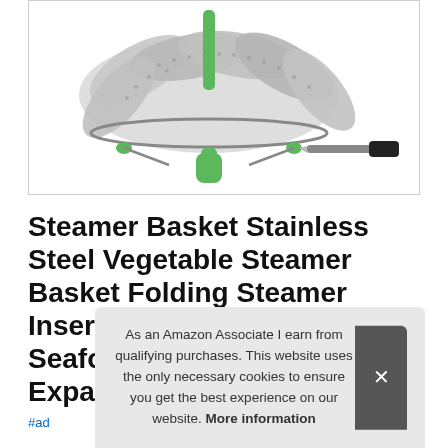[Figure (photo): A stainless steel folding vegetable steamer basket with green silicone handles and feet, shown alongside a screwdriver tool, on a white background inside a bordered product image box.]
Steamer Basket Stainless Steel Vegetable Steamer Basket Folding Steamer Insert for Veggie Fish Seafood Cooking, Expandable to Fit Various Siz
#ad
As an Amazon Associate I earn from qualifying purchases. This website uses the only necessary cookies to ensure you get the best experience on our website. More information